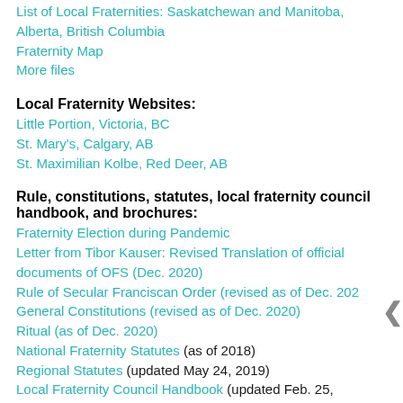List of Local Fraternities: Saskatchewan and Manitoba, Alberta, British Columbia
Fraternity Map
More files
Local Fraternity Websites:
Little Portion, Victoria, BC
St. Mary's, Calgary, AB
St. Maximilian Kolbe, Red Deer, AB
Rule, constitutions, statutes, local fraternity council handbook, and brochures:
Fraternity Election during Pandemic
Letter from Tibor Kauser: Revised Translation of official documents of OFS (Dec. 2020)
Rule of Secular Franciscan Order (revised as of Dec. 2020)
General Constitutions (revised as of Dec. 2020)
Ritual (as of Dec. 2020)
National Fraternity Statutes (as of 2018)
Regional Statutes (updated May 24, 2019)
Local Fraternity Council Handbook (updated Feb. 25,